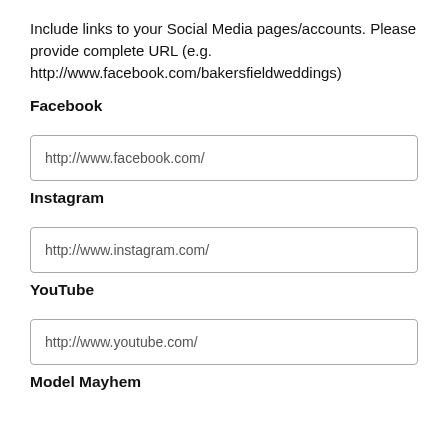Include links to your Social Media pages/accounts. Please provide complete URL (e.g. http://www.facebook.com/bakersfieldweddings)
Facebook
http://www.facebook.com/
Instagram
http://www.instagram.com/
YouTube
http://www.youtube.com/
Model Mayhem